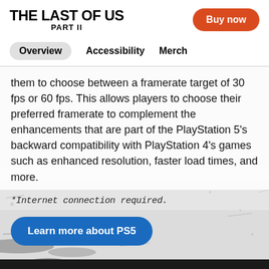THE LAST OF US PART II
Buy now
Overview  Accessibility  Merch
them to choose between a framerate target of 30 fps or 60 fps. This allows players to choose their preferred framerate to complement the enhancements that are part of the PlayStation 5’s backward compatibility with PlayStation 4’s games such as enhanced resolution, faster load times, and more.
*Internet connection required.
Learn more about PS5